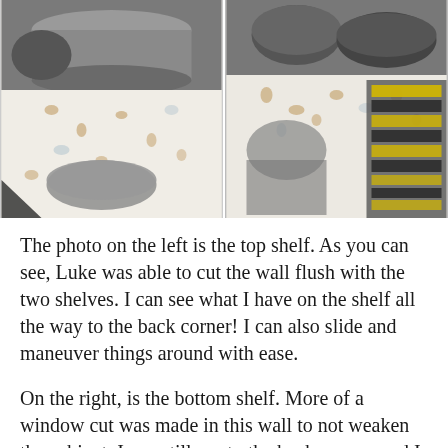[Figure (photo): Two side-by-side photos of kitchen cabinet shelves. Left photo shows the top shelf with pots and pans on a decorative liner with brown and blue dot pattern. Right photo shows the bottom shelf with lids, dishes, and yellow-rimmed plates on the same decorative liner.]
The photo on the left is the top shelf. As you can see, Luke was able to cut the wall flush with the two shelves. I can see what I have on the shelf all the way to the back corner! I can also slide and maneuver things around with ease.
On the right, is the bottom shelf. More of a window cut was made in this wall to not weaken the cabinet. I can still see to the back corner, and I can reach things easily. Having this opening, even though it is smaller, allows me to store larger